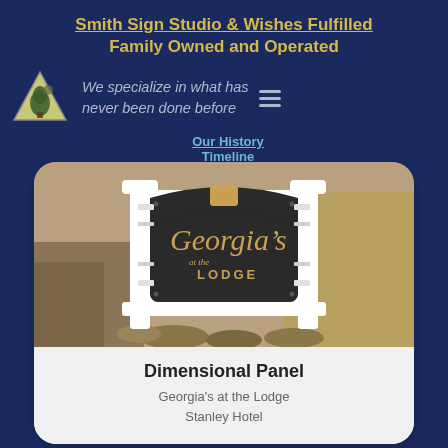Smith Sign Studio & Wishes Fulfilled
Family Owned and Operated
We specialize in what has never been done before
Our History
Timeline
[Figure (photo): Outdoor dimensional panel sign for Georgia's at the Lodge, Stanley Hotel. White ornate frame with dark panel and gold script lettering reading 'Georgia's at the Lodge', set against a background of stone and dried grass.]
Dimensional Panel
Georgia's at the Lodge
Stanley Hotel